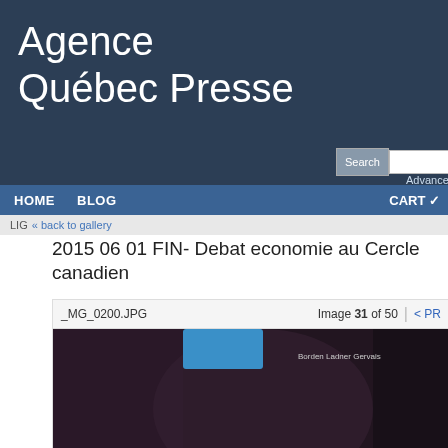Agence Québec Presse
Search  Advanced Search
HOME  BLOG  CART
LIG« back to gallery
2015 06 01 FIN- Debat economie au Cercle canadien
_MG_0200.JPG  Image 31 of 50  < PR
[Figure (photo): Panel discussion at Le Cercle Canadien / The Canadian Club event. Multiple speakers seated at a table in front of branded backdrops including 'Le rendez-vous avec nos PDG / The CEO rendez-vous', 'LE CERCLE CANADIEN THE CANADIAN CLUB', 'Borden Ladner Gervais', and 'Financière S'. Copyright: Agence Quebec Presse watermark visible.]